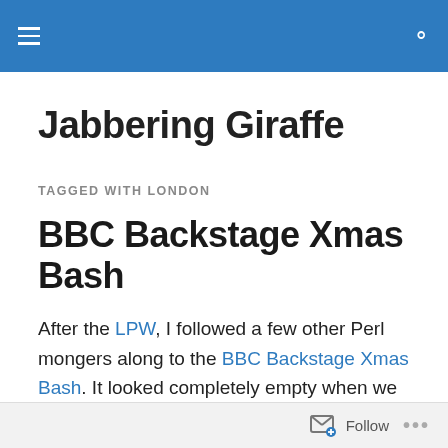Jabbering Giraffe – navigation bar
Jabbering Giraffe
TAGGED WITH LONDON
BBC Backstage Xmas Bash
After the LPW, I followed a few other Perl mongers along to the BBC Backstage Xmas Bash. It looked completely empty when we got there, which was slightly disconcerting, but it just meant that the iceberg was 90% hidden, with all the action being downstairs.
Follow